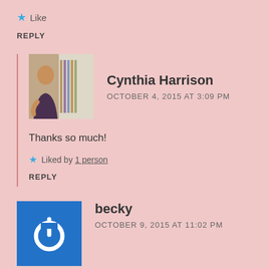★ Like
REPLY
[Figure (photo): Avatar photo of Cynthia Harrison — a woman seated indoors]
Cynthia Harrison
OCTOBER 4, 2015 AT 3:09 PM
Thanks so much!
★ Liked by 1 person
REPLY
[Figure (logo): Blue square avatar with white power/on button icon — for user becky]
becky
OCTOBER 9, 2015 AT 11:02 PM